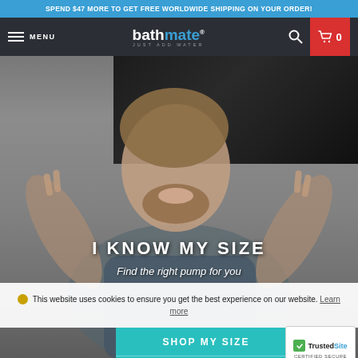SPEND $47 MORE TO GET FREE WORLDWIDE SHIPPING ON YOUR ORDER!
bathmate® JUST ADD WATER — MENU | Search | Cart 0
[Figure (photo): Website screenshot showing a smiling bearded man with his fingers raised on a grey background with a dark product strip in the upper right. Overlaid text reads 'I KNOW MY SIZE' and 'Find the right pump for you'. A cookie consent bar and teal 'SHOP MY SIZE' button appear at the bottom. A TrustedSite badge is in the lower right corner.]
I KNOW MY SIZE
Find the right pump for you
This website uses cookies to ensure you get the best experience on our website. Learn more
SHOP MY SIZE
GOT IT